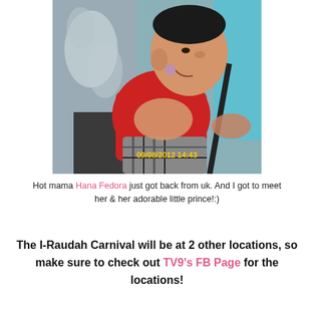[Figure (photo): A baby/toddler in a red shirt sitting on someone's lap, smiling. An adult hand is on the baby's back. Timestamp reads 09/08/2012 14:43.]
Hot mama Hana Fedora just got back from uk. And I got to meet her & her adorable little prince!:)
The I-Raudah Carnival will be at 2 other locations, so make sure to check out TV9's FB Page for the locations!